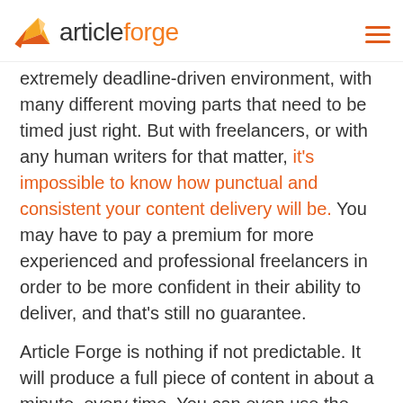articleforge
extremely deadline-driven environment, with many different moving parts that need to be timed just right. But with freelancers, or with any human writers for that matter, it's impossible to know how punctual and consistent your content delivery will be. You may have to pay a premium for more experienced and professional freelancers in order to be more confident in their ability to deliver, and that's still no guarantee.
Article Forge is nothing if not predictable. It will produce a full piece of content in about a minute, every time. You can even use the bulk generator to create multiple versions of each article at the same time to give you options to choose from, all